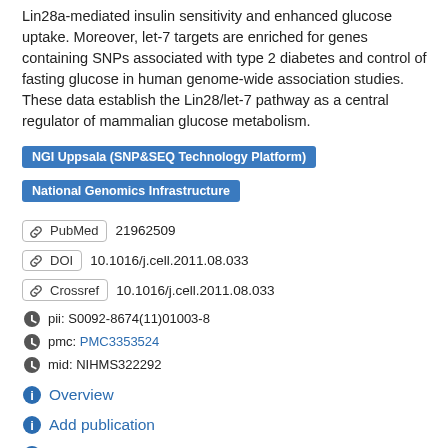Lin28a-mediated insulin sensitivity and enhanced glucose uptake. Moreover, let-7 targets are enriched for genes containing SNPs associated with type 2 diabetes and control of fasting glucose in human genome-wide association studies. These data establish the Lin28/let-7 pathway as a central regulator of mammalian glucose metabolism.
NGI Uppsala (SNP&SEQ Technology Platform)
National Genomics Infrastructure
PubMed  21962509
DOI  10.1016/j.cell.2011.08.033
Crossref  10.1016/j.cell.2011.08.033
pii: S0092-8674(11)01003-8
pmc: PMC3353524
mid: NIHMS322292
Overview
Add publication
Labels